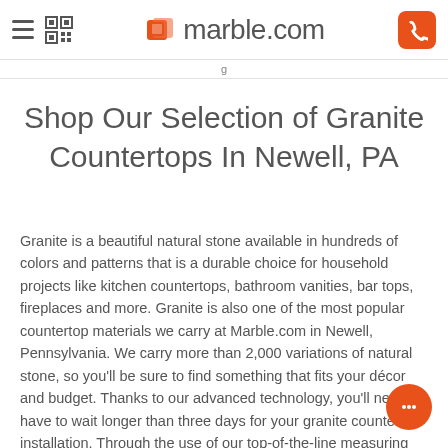marble.com
Shop Our Selection of Granite Countertops In Newell, PA
Granite is a beautiful natural stone available in hundreds of colors and patterns that is a durable choice for household projects like kitchen countertops, bathroom vanities, bar tops, fireplaces and more. Granite is also one of the most popular countertop materials we carry at Marble.com in Newell, Pennsylvania. We carry more than 2,000 variations of natural stone, so you'll be sure to find something that fits your décor and budget. Thanks to our advanced technology, you'll never have to wait longer than three days for your granite countertop installation. Through the use of our top-of-the-line measuring and fabrication equipment, we achieve a precise countertop fit that sets the